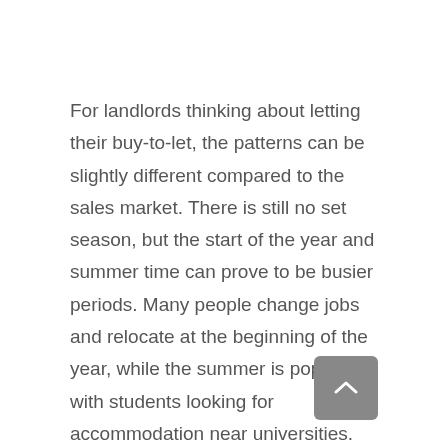For landlords thinking about letting their buy-to-let, the patterns can be slightly different compared to the sales market. There is still no set season, but the start of the year and summer time can prove to be busier periods. Many people change jobs and relocate at the beginning of the year, while the summer is popular with students looking for accommodation near universities.
As you can see, spring is the most popular time to sell property in The Heatons, with 31.9% of homes selling for an average of £239,300. Of course, the housing